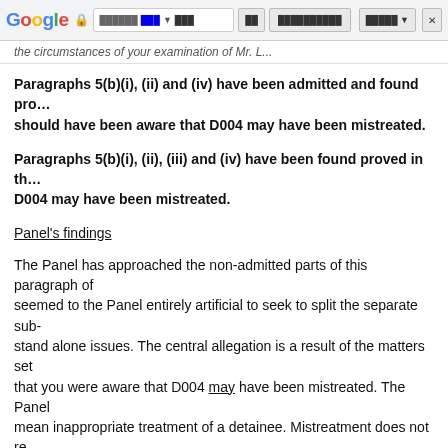Google browser chrome bar
the circumstances of your examination of Mr. L...
Paragraphs 5(b)(i), (ii) and (iv) have been admitted and found proved — should have been aware that D004 may have been mistreated.
Paragraphs 5(b)(i), (ii), (iii) and (iv) have been found proved in th... D004 may have been mistreated.
Panel's findings
The Panel has approached the non-admitted parts of this paragraph of... seemed to the Panel entirely artificial to seek to split the separate sub-... stand alone issues. The central allegation is a result of the matters set... that you were aware that D004 may have been mistreated. The Panel... mean inappropriate treatment of a detainee. Mistreatment does not re... been unlawfully assaulted.
From the Panel's earlier findings and the non-disputed evidence, in th... following picture emerges:
Further observation...